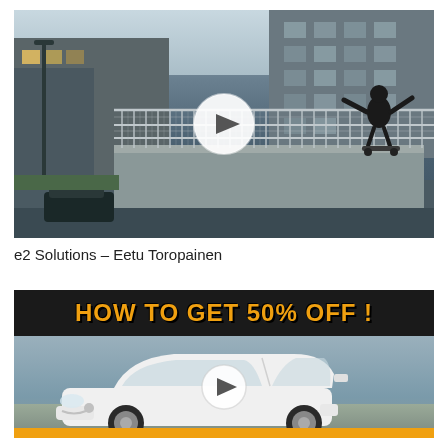[Figure (screenshot): Video thumbnail showing a skateboarder performing a trick on a metal railing fence in an urban setting with apartment buildings in the background. A white circular play button is centered on the image.]
e2 Solutions – Eetu Toropainen
[Figure (screenshot): Video thumbnail advertisement showing 'HOW TO GET 50% OFF!' text in orange on black background at top, with a white Alfa Romeo car on a road below and a play button overlay.]